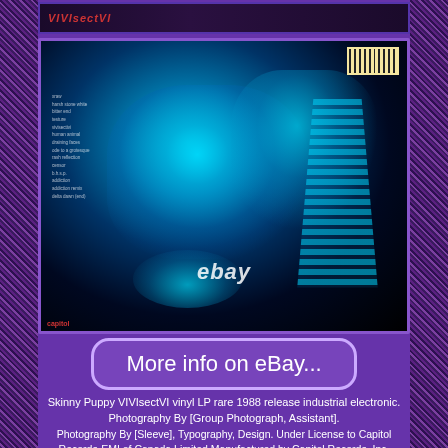[Figure (photo): Top portion of a vinyl LP record album cover for Skinny Puppy VIVIsectVI, showing dark background with partial view]
[Figure (photo): Main album cover photo for Skinny Puppy VIVIsectVI - X-ray style image showing glowing cyan/teal skull and spine imagery on black background, with barcode sticker top right and Capitol Records logo bottom left, eBay watermark overlaid]
More info on eBay...
Skinny Puppy VIVIsectVI vinyl LP rare 1988 release industrial electronic. Photography By [Group Photograph, Assistant].
Photography By [Sleeve], Typography, Design. Under License to Capitol Records-EMI of Canada Limited Manufactured by Capitol Records, Inc.